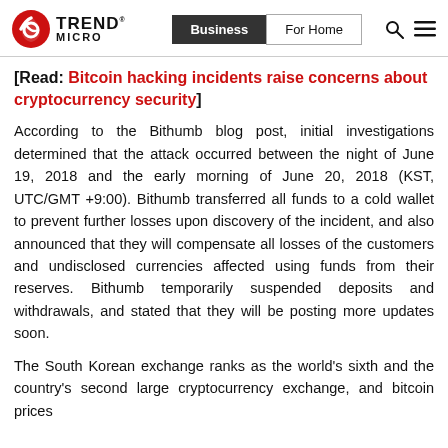Trend Micro | Business | For Home
[Read: Bitcoin hacking incidents raise concerns about cryptocurrency security]
According to the Bithumb blog post, initial investigations determined that the attack occurred between the night of June 19, 2018 and the early morning of June 20, 2018 (KST, UTC/GMT +9:00). Bithumb transferred all funds to a cold wallet to prevent further losses upon discovery of the incident, and also announced that they will compensate all losses of the customers and undisclosed currencies affected using funds from their reserves. Bithumb temporarily suspended deposits and withdrawals, and stated that they will be posting more updates soon.
The South Korean exchange ranks as the world's sixth and the country's second large cryptocurrency exchange, and bitcoin prices